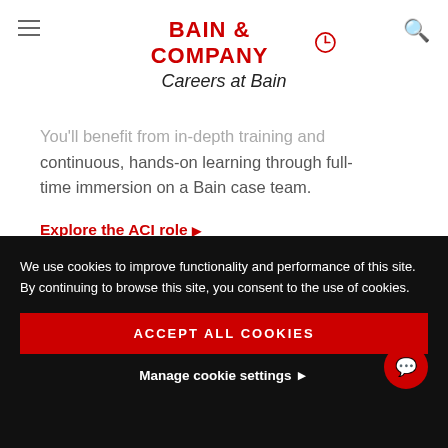BAIN & COMPANY Careers at Bain
You'll benefit from in-depth training and continuous, hands-on learning through full-time immersion on a Bain case team.
Explore the ACI role ▶
Associate Consultant
We use cookies to improve functionality and performance of this site. By continuing to browse this site, you consent to the use of cookies.
ACCEPT ALL COOKIES
Manage cookie settings ▶